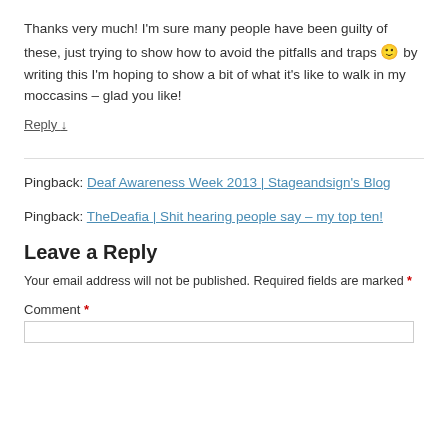Thanks very much! I'm sure many people have been guilty of these, just trying to show how to avoid the pitfalls and traps 🙂 by writing this I'm hoping to show a bit of what it's like to walk in my moccasins – glad you like!
Reply ↓
Pingback: Deaf Awareness Week 2013 | Stageandsign's Blog
Pingback: TheDeafia | Shit hearing people say – my top ten!
Leave a Reply
Your email address will not be published. Required fields are marked *
Comment *